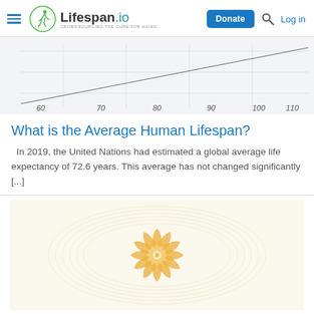Lifespan.io — Donate | Log in
[Figure (other): Partial view of a chart or table with age axis labels: 60, 70, 80, 90, 100, 110]
What is the Average Human Lifespan?
In 2019, the United Nations had estimated a global average life expectancy of 72.6 years. This average has not changed significantly [...]
[Figure (illustration): Decorative golden mandala/rosette pattern on cream background, resembling a certificate or award design element]